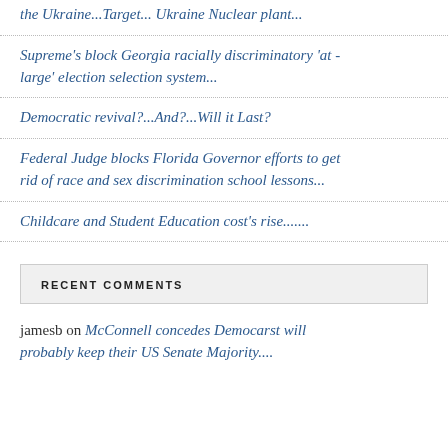the Ukraine...Target... Ukraine Nuclear plant...
Supreme's block Georgia racially discriminatory 'at - large' election selection system...
Democratic revival?...And?...Will it Last?
Federal Judge blocks Florida Governor efforts to get rid of race and sex discrimination school lessons...
Childcare and Student Education cost's rise.......
RECENT COMMENTS
jamesb on McConnell concedes Democarst will probably keep their US Senate Majority....